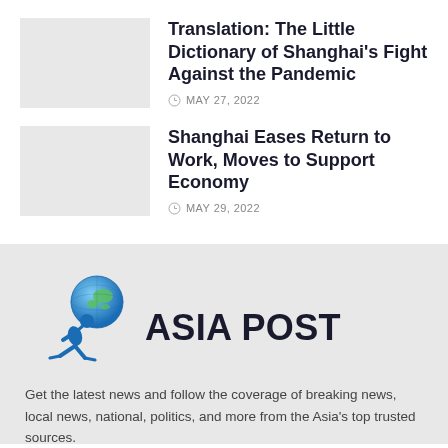Translation: The Little Dictionary of Shanghai’s Fight Against the Pandemic
MAY 27, 2022
Shanghai Eases Return to Work, Moves to Support Economy
MAY 29, 2022
[Figure (logo): Asia Post logo with blue globe and running figure on gray background, with text ASIA POST]
Get the latest news and follow the coverage of breaking news, local news, national, politics, and more from the Asia's top trusted sources.